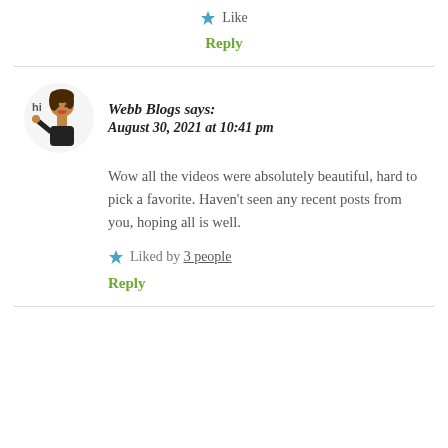★ Like
Reply
Webb Blogs says: August 30, 2021 at 10:41 pm
Wow all the videos were absolutely beautiful, hard to pick a favorite. Haven't seen any recent posts from you, hoping all is well.
★ Liked by 3 people
Reply